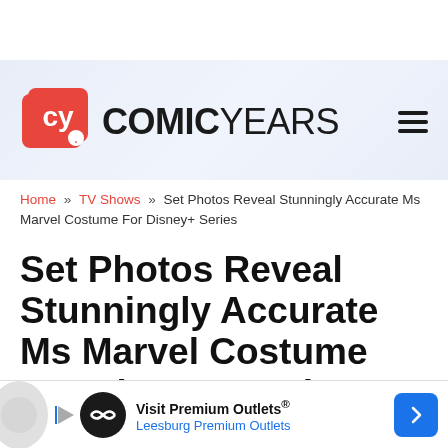[Figure (logo): Comic Years website logo with red 'cy' icon and bold COMICYEARS text, hamburger menu icon on right]
Home » TV Shows » Set Photos Reveal Stunningly Accurate Ms Marvel Costume For Disney+ Series
Set Photos Reveal Stunningly Accurate Ms Marvel Costume For Disney+ Series
[Figure (screenshot): Advertisement banner: Visit Premium Outlets® Leesburg Premium Outlets with logo and navigation arrow]